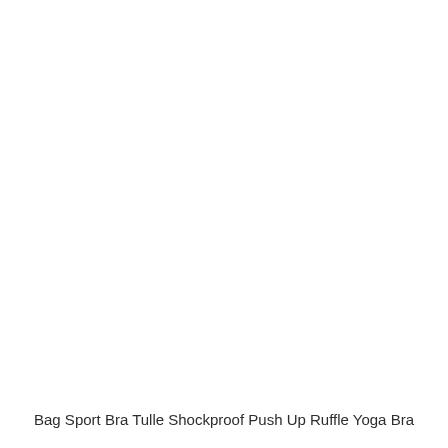Bag Sport Bra Tulle Shockproof Push Up Ruffle Yoga Bra